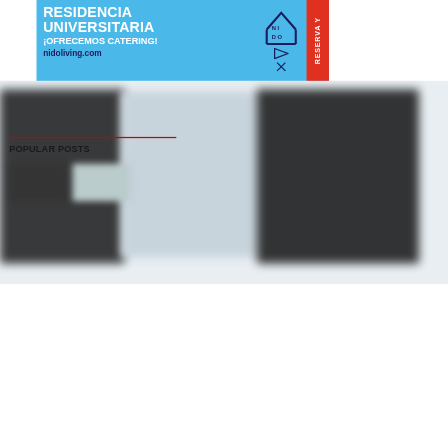[Figure (screenshot): Advertisement banner for Residencia Universitaria Nido Living with blue background. Text reads: RESIDENCIA UNIVERSITARIA ¡OFRECEMOS CATERING! nidoliving.com with Nido logo and red RESERVA Y strip on right side.]
[Figure (photo): Blurred/obscured content area showing dark blurred rectangular shapes on light background, partially obscured webpage content.]
POPULAR POSTS
[Figure (photo): Blurred thumbnail images for popular posts section at bottom of page.]